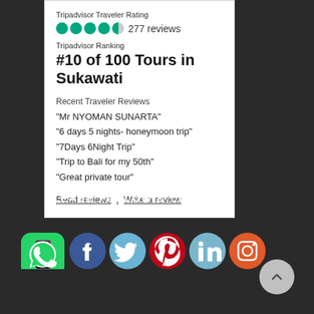Tripadvisor Traveler Rating
277 reviews
Tripadvisor Ranking
#10 of 100 Tours in Sukawati
Recent Traveler Reviews
“Mr NYOMAN SUNARTA”
“6 days 5 nights- honeymoon trip”
“7Days 6Night Trip”
“Trip to Bali for my 50th”
“Great private tour”
Read reviews | Write a review
PLEASE FOLLOW & LIKE US :)
[Figure (logo): Social media icons: Facebook, Twitter, Pinterest, LinkedIn, Instagram, WhatsApp]